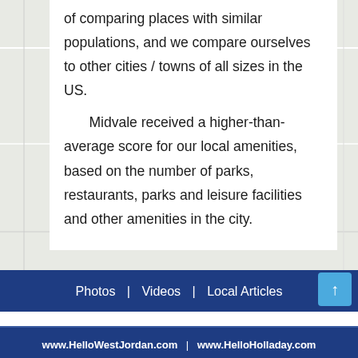[Figure (map): Street map background showing roads and neighborhood labels including Ironwood West, Creek C..., and Belmont Heights]
of comparing places with similar populations, and we compare ourselves to other cities / towns of all sizes in the US.
Midvale received a higher-than-average score for our local amenities, based on the number of parks, restaurants, parks and leisure facilities and other amenities in the city.
Photos | Videos | Local Articles
www.HelloWestJordan.com | www.HelloHolladay.com